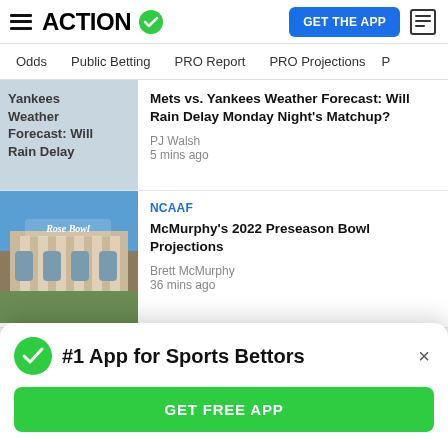ACTION
Odds | Public Betting | PRO Report | PRO Projections
Yankees Weather Forecast: Will Rain Delay – Mets vs. Yankees Weather Forecast: Will Rain Delay Monday Night's Matchup? – PJ Walsh – 5 mins ago
[Figure (photo): Rose Bowl stadium exterior with blue sky]
NCAAF – McMurphy's 2022 Preseason Bowl Projections – Brett McMurphy – 36 mins ago
#1 App for Sports Bettors – GET FREE APP